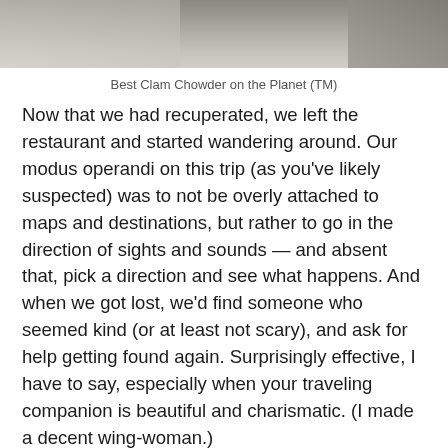[Figure (photo): Bottom portion of a photograph showing a surface, likely a street or sidewalk scene, partially cropped at the top of the page.]
Best Clam Chowder on the Planet (TM)
Now that we had recuperated, we left the restaurant and started wandering around. Our modus operandi on this trip (as you’ve likely suspected) was to not be overly attached to maps and destinations, but rather to go in the direction of sights and sounds — and absent that, pick a direction and see what happens. And when we got lost, we’d find someone who seemed kind (or at least not scary), and ask for help getting found again. Surprisingly effective, I have to say, especially when your traveling companion is beautiful and charismatic. (I made a decent wing-woman.)
Determining direction in Dingle was utterly